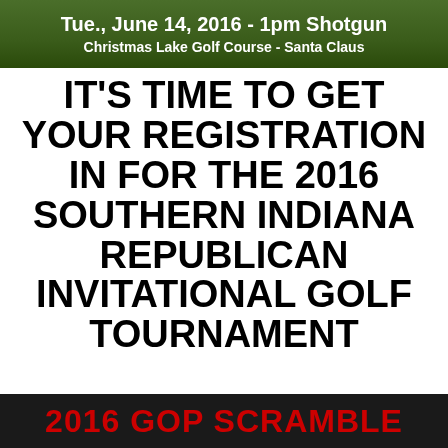[Figure (photo): Green golf course background banner with white text: 'Tue., June 14, 2016 - 1pm Shotgun' and 'Christmas Lake Golf Course - Santa Claus']
IT'S TIME TO GET YOUR REGISTRATION IN FOR THE 2016 SOUTHERN INDIANA REPUBLICAN INVITATIONAL GOLF TOURNAMENT
[Figure (photo): Dark/black background banner with red bold text '2016 GOP SCRAMBLE']